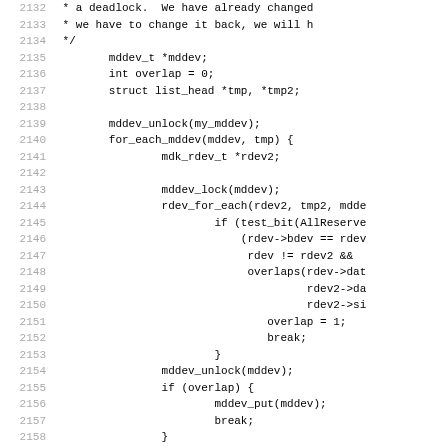[Figure (screenshot): Source code listing in C showing lines 2132-2163. Line numbers appear on the left in gray, code on the right in monospace. Shows C code with mddev functions, loops, lock/unlock calls, and conditional overlap detection logic.]